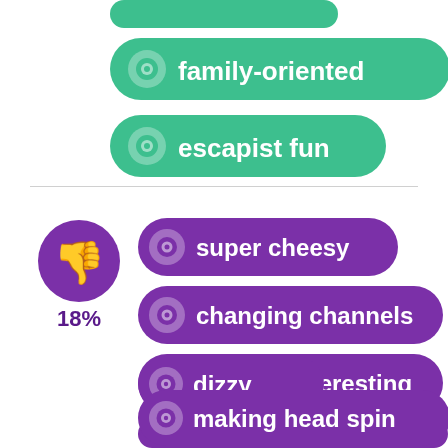[Figure (infographic): Green pill badge: family-oriented]
[Figure (infographic): Green pill badge: escapist fun]
[Figure (infographic): Thumbs down icon with 18% label and purple pill badges: super cheesy, changing channels, fairly uninteresting, dizzy, making head spin]